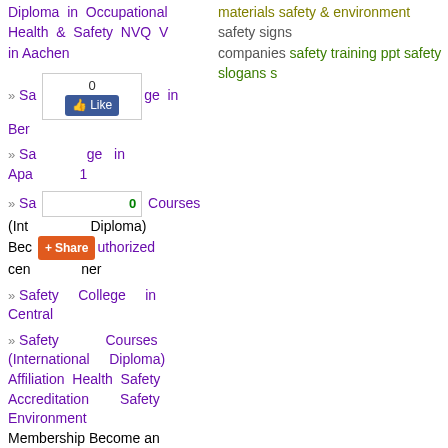Diploma in Occupational Health & Safety NVQ V in Aachen
» Safety College in Berlin [with Facebook Like widget showing 0]
» Safety College in Apa 1
» Safety Courses (International Diploma) Become an Authorized center [with Share widget showing 0]
» Safety College in Central
» Safety Courses (International Diploma) Affiliation Health Safety Accreditation Safety Environment Membership Become an Authorized Center in Arlington
» A in Aachen
» Safety College in
materials safety & environment safety signs companies safety training ppt safety slogans s